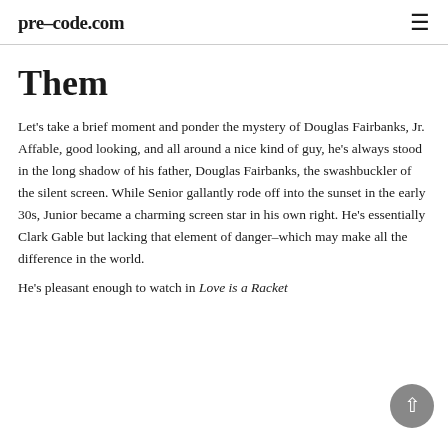pre-code.com
Them
Let's take a brief moment and ponder the mystery of Douglas Fairbanks, Jr. Affable, good looking, and all around a nice kind of guy, he's always stood in the long shadow of his father, Douglas Fairbanks, the swashbuckler of the silent screen. While Senior gallantly rode off into the sunset in the early 30s, Junior became a charming screen star in his own right. He's essentially Clark Gable but lacking that element of danger–which may make all the difference in the world.
He's pleasant enough to watch in Love is a Racket